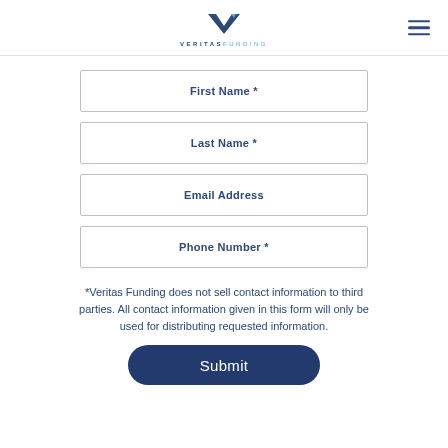[Figure (logo): Veritas Funding logo with stylized V and company name]
First Name *
Last Name *
Email Address
Phone Number *
*Veritas Funding does not sell contact information to third parties. All contact information given in this form will only be used for distributing requested information.
Submit